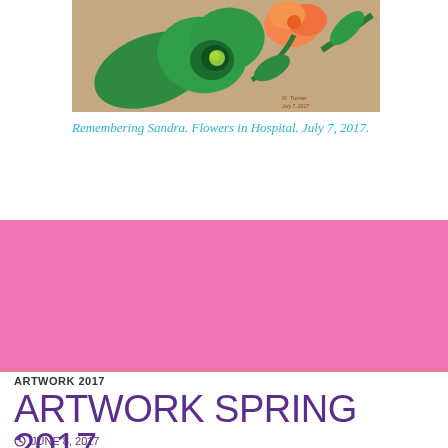[Figure (illustration): Painting of green flowers with an orange bloom and leaves on a tan/beige background, signed by the artist with 'July 7, 2017' notation in bottom right corner.]
Remembering Sandra. Flowers in Hospital. July 7, 2017.
ARTWORK 2017
ARTWORK SPRING 2017
JUNE 8, 2017